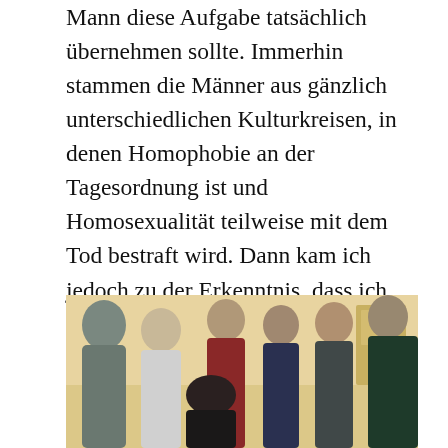Mann diese Aufgabe tatsächlich übernehmen sollte. Immerhin stammen die Männer aus gänzlich unterschiedlichen Kulturkreisen, in denen Homophobie an der Tagesordnung ist und Homosexualität teilweise mit dem Tod bestraft wird. Dann kam ich jedoch zu der Erkenntnis, dass ich mich selbst diskriminieren würde, wenn ich die Aufgabe aufgrund meiner Sexualität nicht übernehmen sollte. Außerdem wollte ich überprüfen, ob meine Befürchtungen und Vorurteile tatsächlich zutreffen. Daher habe ich einfach mal geschaut, was auf mich zukommt.
[Figure (photo): Group photo of several men posing together in a room with yellow walls. One man wearing a grey hoodie is on the left, others are dressed in various colored clothing including white, red, dark blue, and green.]